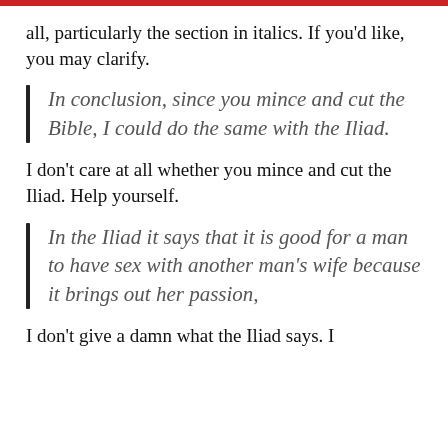all, particularly the section in italics. If you'd like, you may clarify.
In conclusion, since you mince and cut the Bible, I could do the same with the Iliad.
I don't care at all whether you mince and cut the Iliad. Help yourself.
In the Iliad it says that it is good for a man to have sex with another man's wife because it brings out her passion,
I don't give a damn what the Iliad says. I